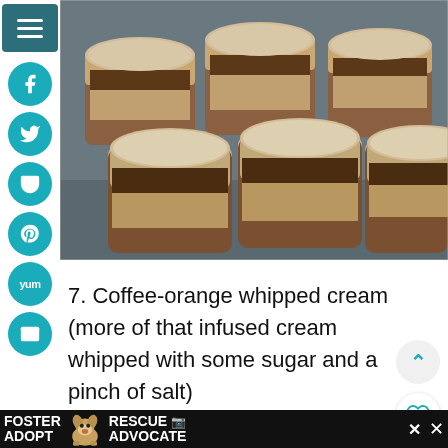[Figure (photo): Multiple layered dessert cups with coffee-orange whipped cream topping arranged on a tray, showing layers of cream, chocolate, and crumbled topping]
7. Coffee-orange whipped cream (more of that infused cream whipped with some sugar and a pinch of salt)
[Figure (photo): Partial view of another food photo, dark brown tones]
[Figure (infographic): Advertisement banner: FOSTER ADOPT with dog photo, RESCUE ADVOCATE text with close button]